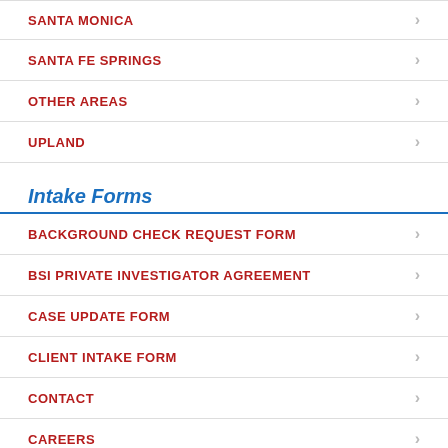SANTA MONICA
SANTA FE SPRINGS
OTHER AREAS
UPLAND
Intake Forms
BACKGROUND CHECK REQUEST FORM
BSI PRIVATE INVESTIGATOR AGREEMENT
CASE UPDATE FORM
CLIENT INTAKE FORM
CONTACT
CAREERS